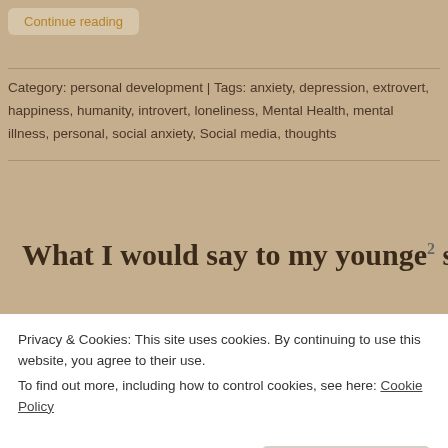Continue reading
Category: personal development | Tags: anxiety, depression, extrovert, happiness, humanity, introvert, loneliness, Mental Health, mental illness, personal, social anxiety, Social media, thoughts
What I would say to my younger self
Privacy & Cookies: This site uses cookies. By continuing to use this website, you agree to their use.
To find out more, including how to control cookies, see here: Cookie Policy
Close and accept
I NEVER SAID IT WOULD have a future